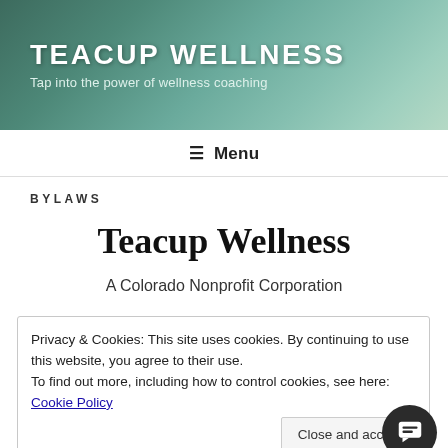TEACUP WELLNESS
Tap into the power of wellness coaching
≡ Menu
BYLAWS
Teacup Wellness
A Colorado Nonprofit Corporation
Privacy & Cookies: This site uses cookies. By continuing to use this website, you agree to their use.
To find out more, including how to control cookies, see here: Cookie Policy
Close and accept